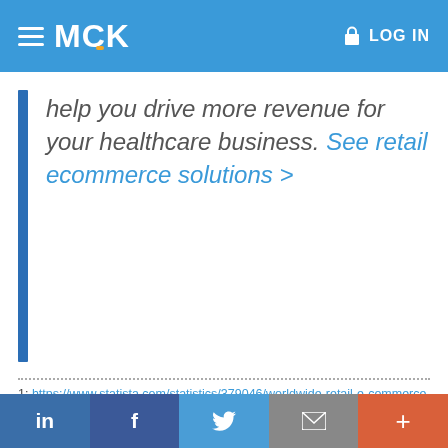MCK LOG IN
help you drive more revenue for your healthcare business. See retail ecommerce solutions >
1: https://www.statista.com/statistics/379046/worldwide-retail-e-commerce-sales/
2: https://www.reportlinker.com/p06151612/Healthcare-E-Commerce-Global-Market-Report-COVID-19-Growth-And-Change-To.html
3: https://y-sbm.com/blog/pwa-increase-your-business
in f [twitter] [email] +